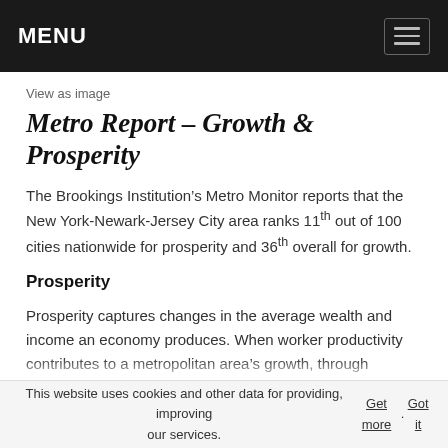MENU
View as image
Metro Report – Growth & Prosperity
The Brookings Institution's Metro Monitor reports that the New York-Newark-Jersey City area ranks 11th out of 100 cities nationwide for prosperity and 36th overall for growth.
Prosperity
Prosperity captures changes in the average wealth and income an economy produces. When worker productivity contributes to a metropolitan area's growth, through innovation or training, for example, the value of those
This website uses cookies and other data for providing, improving our services. Get more. Got it